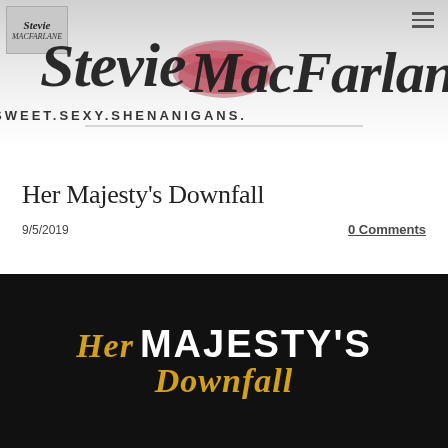[Figure (logo): Stevie MacFarlane author logo with cursive script text reading 'Stevie MacFarlane' and tagline 'SWEET.SEXY.SHENANIGANS.' with decorative lips graphic, small badge logo in top-left, hamburger menu icon top-right]
Her Majesty's Downfall
9/5/2019
0 Comments
[Figure (photo): Book cover for 'Her Majesty's Downfall' showing text on dark/black background with 'Her' in gold italic script, 'MAJESTY'S' in large white bold capital letters, and the beginning of 'DOWNFALL' in gold italic]